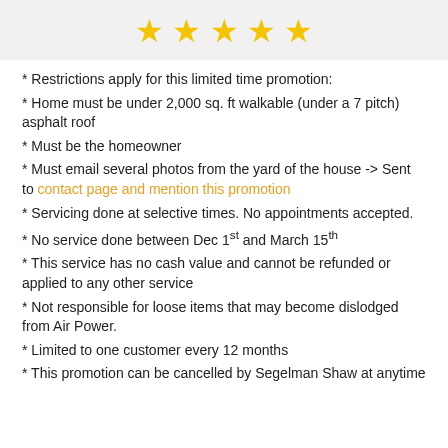[Figure (other): Five gold star rating icons in a light gray header bar]
* Restrictions apply for this limited time promotion:
* Home must be under 2,000 sq. ft walkable (under a 7 pitch) asphalt roof
* Must be the homeowner
* Must email several photos from the yard of the house -> Sent to contact page and mention this promotion
* Servicing done at selective times. No appointments accepted.
* No service done between Dec 1st and March 15th
* This service has no cash value and cannot be refunded or applied to any other service
* Not responsible for loose items that may become dislodged from Air Power.
* Limited to one customer every 12 months
* This promotion can be cancelled by Segelman Shaw at anytime